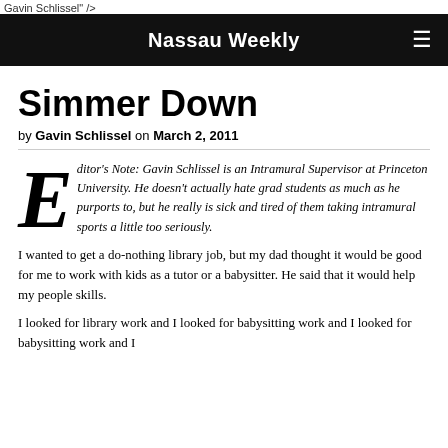Gavin Schlissel" />
Nassau Weekly
Simmer Down
by Gavin Schlissel on March 2, 2011
Editor's Note: Gavin Schlissel is an Intramural Supervisor at Princeton University. He doesn't actually hate grad students as much as he purports to, but he really is sick and tired of them taking intramural sports a little too seriously.
I wanted to get a do-nothing library job, but my dad thought it would be good for me to work with kids as a tutor or a babysitter. He said that it would help my people skills.
I looked for library work and I looked for babysitting work...